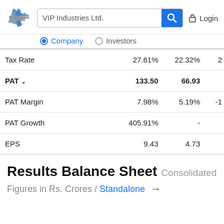VIP Industries Ltd. | Company | Investors | Login
|  | Col1 | Col2 | Col3 |
| --- | --- | --- | --- |
| Tax Rate | 27.61% | 22.32% | 2 |
| PAT ↓ | 133.50 | 66.93 |  |
| PAT Margin | 7.98% | 5.19% | -1 |
| PAT Growth | 405.91% | - |  |
| EPS | 9.43 | 4.73 |  |
Results Balance Sheet Consolidated
Figures in Rs. Crores / Standalone →